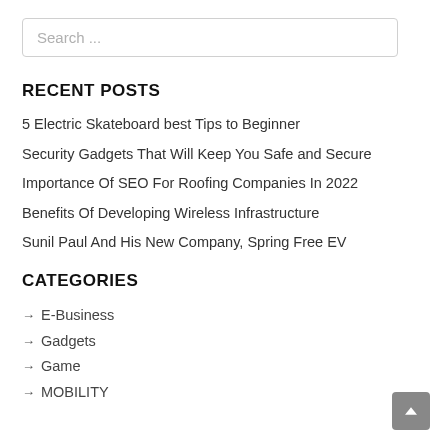Search ...
RECENT POSTS
5 Electric Skateboard best Tips to Beginner
Security Gadgets That Will Keep You Safe and Secure
Importance Of SEO For Roofing Companies In 2022
Benefits Of Developing Wireless Infrastructure
Sunil Paul And His New Company, Spring Free EV
CATEGORIES
→ E-Business
→ Gadgets
→ Game
→ MOBILITY